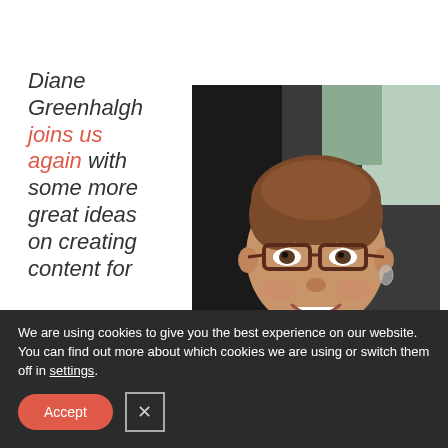Diane Greenhalgh joins us again with some more great ideas on creating content for
[Figure (photo): Headshot of Diane Greenhalgh, a woman with short brown hair wearing glasses and a pink top, smiling at the camera against a dark background.]
We are using cookies to give you the best experience on our website.
You can find out more about which cookies we are using or switch them off in settings.